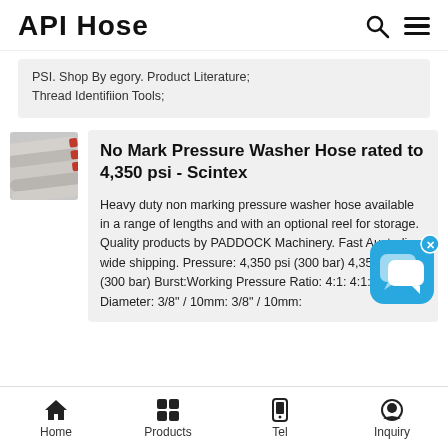API Hose
PSI. Shop By egory. Product Literature; Thread Identifiion Tools;
[Figure (photo): Photo of grey/white pressure washer hoses bundled together]
No Mark Pressure Washer Hose rated to 4,350 psi - Scintex
Heavy duty non marking pressure washer hose available in a range of lengths and with an optional reel for storage. Quality products by PADDOCK Machinery. Fast Australia wide shipping. Pressure: 4,350 psi (300 bar) 4,350 psi (300 bar) Burst:Working Pressure Ratio: 4:1: 4:1: Diameter: 3/8" / 10mm: 3/8" / 10mm:
[Figure (screenshot): Blue chat support bubble icon with x close button]
Home  Products  Tel  Inquiry